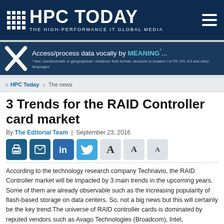HPC TODAY — THE HIGH-PERFORMANCE IT GLOBAL MEDIA
[Figure (screenshot): Ad banner: Access/process data vocally by MEANING*... with logo and subtitle text]
HPC Today > The news
3 Trends for the RAID Controller card market
By The Editorial Team | September 23, 2016
[Figure (other): Social share buttons (print, email, LinkedIn, Twitter) and font-size toggle buttons (A A A)]
According to the technology research company Technavio, the RAID Controller market will be impacted by 3 main trends in the upcoming years. Some of them are already observable such as the increasing popularity of flash-based storage on data centers. So, not a big news but this will certainly be the key trend.The universe of RAID controller cards is dominated by reputed vendors such as Avago Technologies (Broadcom), Intel,